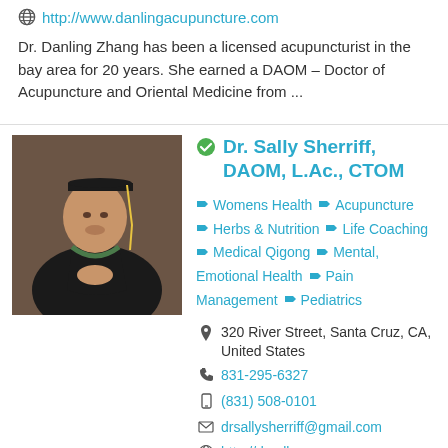http://www.danlingacupuncture.com
Dr. Danling Zhang has been a licensed acupuncturist in the bay area for 20 years. She earned a DAOM – Doctor of Acupuncture and Oriental Medicine from ...
[Figure (photo): Photo of Dr. Sally Sherriff in graduation regalia, black gown and cap with yellow tassel, smiling]
Dr. Sally Sherriff, DAOM, L.Ac., CTOM
Womens Health  Acupuncture  Herbs & Nutrition  Life Coaching  Medical Qigong  Mental, Emotional Health  Pain Management  Pediatrics
320 River Street, Santa Cruz, CA, United States
831-295-6327
(831) 508-0101
drsallysherriff@gmail.com
http://drsally.org